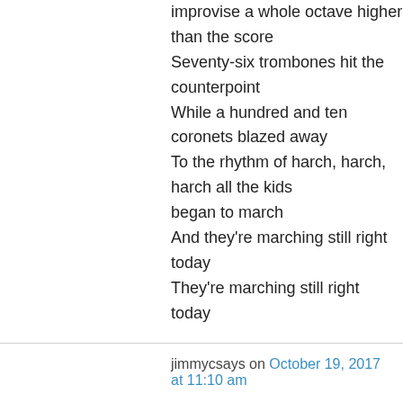improvise a whole octave higher than the score
Seventy-six trombones hit the counterpoint
While a hundred and ten coronets blazed away
To the rhythm of harch, harch, harch all the kids began to march
And they're marching still right today
They're marching still right today
jimmycsays on October 19, 2017 at 11:10 am
Now that's a band.
Margaret Nichols on October 19, 2017 at 6:22 pm
Oh, Jim, you amaze me — how could you forget the politicians who appear on masse at parades